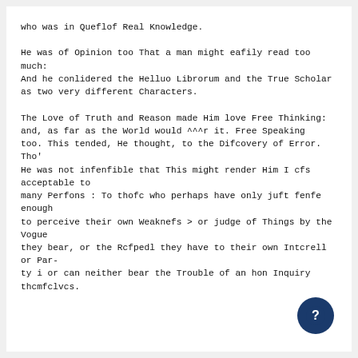who was in Queflof Real Knowledge.

He was of Opinion too That a man might eafily read too much:
And he conlidered the Helluo Librorum and the True Scholar
as two very different Characters.

The Love of Truth and Reason made Him love Free Thinking: and, as far as the World would ^^^r it. Free Speaking
too. This tended, He thought, to the Difcovery of Error. Tho'
He was not infenfible that This might render Him I cfs acceptable to
many Perfons : To thofc who perhaps have only juft fenfe enough
to perceive their own Weaknefs > or judge of Things by the Vogue
they bear, or the Rcfpedl they have to their own Intcrell or Par-
ty i or can neither bear the Trouble of an hon Inquiry thcmfclvcs.